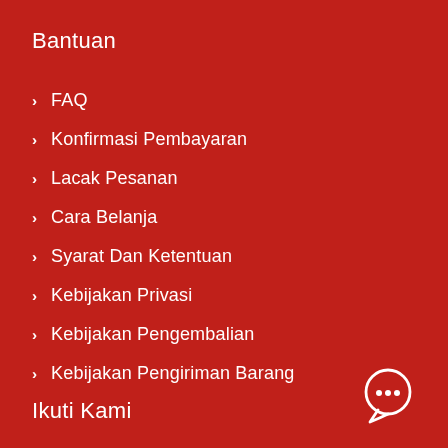Bantuan
FAQ
Konfirmasi Pembayaran
Lacak Pesanan
Cara Belanja
Syarat Dan Ketentuan
Kebijakan Privasi
Kebijakan Pengembalian
Kebijakan Pengiriman Barang
Ikuti Kami
[Figure (illustration): Chat bubble icon with three dots, white outline on red background, bottom right corner]